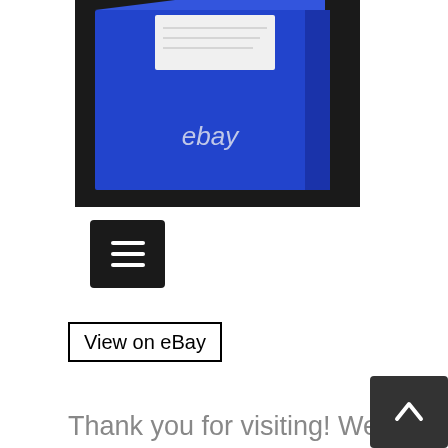[Figure (photo): Blue eBay branded box with a white label/sticker on top, photographed on a dark background. The word 'ebay' appears in light text on the blue box.]
[Figure (other): Dark square button with three horizontal white lines (hamburger/menu icon)]
View on eBay
Thank you for visiting! We will respond promptly within 24 hours. Description Authenticity: 100% AUTHENTIC! Please check all used photos. Therefore, if you have any questions, please be sure to check the product status with us before purchasing. We sell our items on other websites and in our retail stores in Japan at the same time. International Buyers – Please Note.
[Figure (other): Dark square scroll-to-top button with an upward pointing chevron arrow icon]